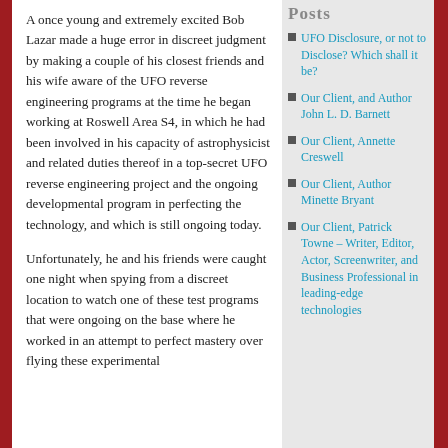Posts
A once young and extremely excited Bob Lazar made a huge error in discreet judgment by making a couple of his closest friends and his wife aware of the UFO reverse engineering programs at the time he began working at Roswell Area S4, in which he had been involved in his capacity of astrophysicist and related duties thereof in a top-secret UFO reverse engineering project and the ongoing developmental program in perfecting the technology, and which is still ongoing today.
Unfortunately, he and his friends were caught one night when spying from a discreet location to watch one of these test programs that were ongoing on the base where he worked in an attempt to perfect mastery over flying these experimental
UFO Disclosure, or not to Disclose? Which shall it be?
Our Client, and Author John L. D. Barnett
Our Client, Annette Creswell
Our Client, Author Minette Bryant
Our Client, Patrick Towne – Writer, Editor, Actor, Screenwriter, and Business Professional in leading-edge technologies